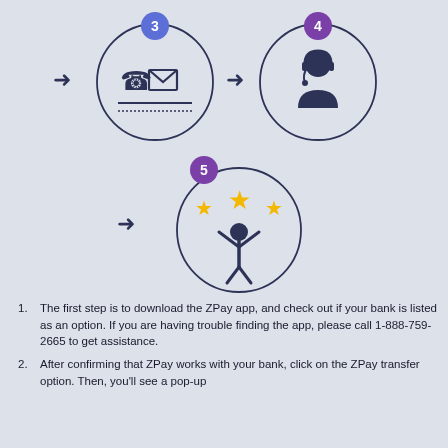[Figure (infographic): Step 3 circle icon showing a phone and envelope (contact card), step 4 circle icon showing a headset support agent, with arrows between them. Step badges numbered 3 (blue) and 4 (purple) above each circle.]
[Figure (infographic): Step 5 circle icon showing a person with arms raised and three stars above, representing success. Arrow pointing to the circle. Step badge numbered 5 (purple).]
The first step is to download the ZPay app, and check out if your bank is listed as an option.  If you are having trouble finding the app, please call 1-888-759-2665 to get assistance.
After confirming that ZPay works with your bank, click on the ZPay transfer option. Then, you'll see a pop-up